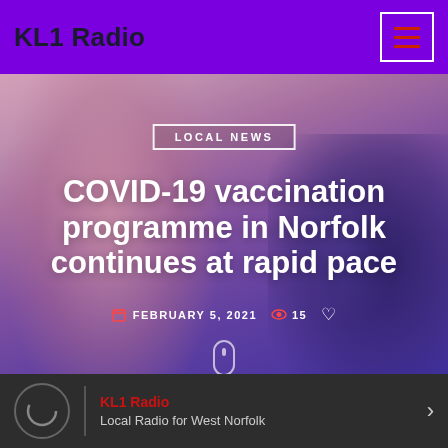KL1 Radio
[Figure (photo): Blurred background photo of a healthcare worker administering a COVID-19 vaccine injection, wearing a blue uniform and face mask]
LOCAL NEWS
COVID-19 vaccination programme in Norfolk continues at rapid pace
FEBRUARY 5, 2021  15
KL1 Radio
Local Radio for West Norfolk